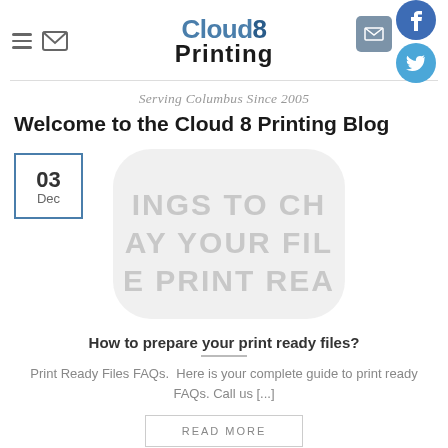Cloud8 Printing — navigation header with hamburger menu, mail icon, logo, social icons (email, Facebook, Twitter)
Serving Columbus Since 2005
Welcome to the Cloud 8 Printing Blog
[Figure (illustration): Thumbnail image with text overlaid: lines showing 'INGS TO CH', 'AY YOUR FIL', 'E PRINT REA' — partial text of a watermark/graphic on a rounded rectangle background]
How to prepare your print ready files?
Print Ready Files FAQs.  Here is your complete guide to print ready FAQs. Call us [...]
READ MORE